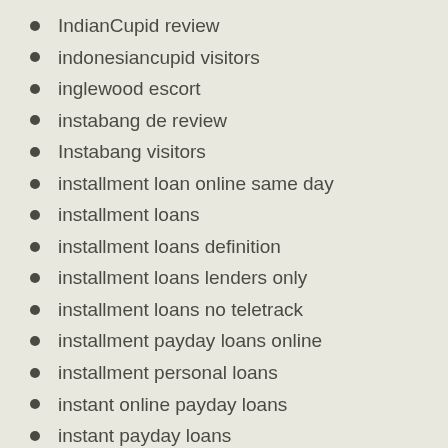IndianCupid review
indonesiancupid visitors
inglewood escort
instabang de review
Instabang visitors
installment loan online same day
installment loans
installment loans definition
installment loans lenders only
installment loans no teletrack
installment payday loans online
installment personal loans
instant online payday loans
instant payday loans
instant title loan